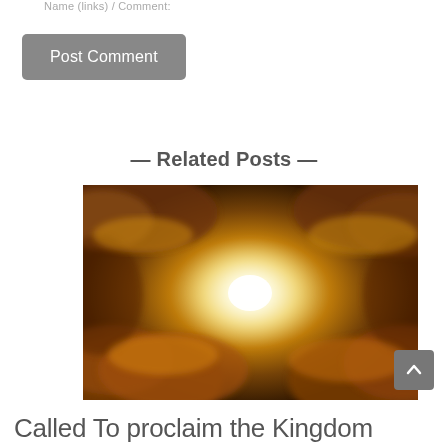Name (links) / Comment:
Post Comment
— Related Posts —
[Figure (photo): Dramatic golden sky with glowing white light at center surrounded by swirling golden clouds]
Called To proclaim the Kingdom